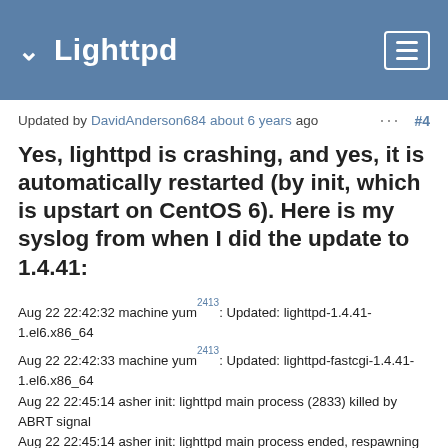Lighttpd
Updated by DavidAnderson684 about 6 years ago  ···  #4
Yes, lighttpd is crashing, and yes, it is automatically restarted (by init, which is upstart on CentOS 6). Here is my syslog from when I did the update to 1.4.41:
Aug 22 22:42:32 machine yum^2413: Updated: lighttpd-1.4.41-1.el6.x86_64
Aug 22 22:42:33 machine yum^2413: Updated: lighttpd-fastcgi-1.4.41-1.el6.x86_64
Aug 22 22:45:14 asher init: lighttpd main process (2833) killed by ABRT signal
Aug 22 22:45:14 asher init: lighttpd main process ended, respawning
Aug 22 22:45:19 asher init: lighttpd main process (7253) killed by ABRT signal
Aug 22 22:45:19 asher init: lighttpd main process ended, respawning
Aug 22 22:45:42 asher init: lighttpd main process (7349)